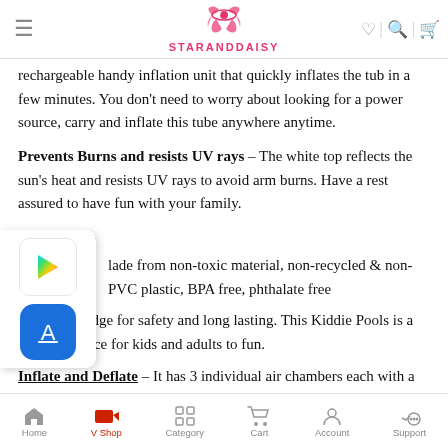StarAndDaisy
rechargeable handy inflation unit that quickly inflates the tub in a few minutes. You don't need to worry about looking for a power source, carry and inflate this tube anywhere anytime.
Prevents Burns and resists UV rays – The white top reflects the sun's heat and resists UV rays to avoid arm burns. Have a rest assured to have fun with your family.
e for Baby –
Made from non-toxic material, non-recycled & non-PVC plastic, BPA free, phthalate free
Smooth edge for safety and long lasting. This Kiddie Pools is a good choice for kids and adults to fun.
Inflate and Deflate – It has 3 individual air chambers each with a
Home | V Shop | Category | Cart | Account | Support